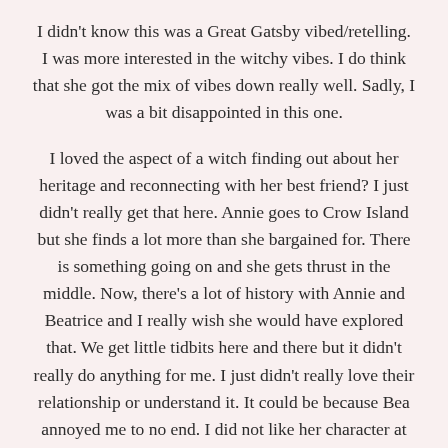I didn't know this was a Great Gatsby vibed/retelling. I was more interested in the witchy vibes. I do think that she got the mix of vibes down really well. Sadly, I was a bit disappointed in this one.
I loved the aspect of a witch finding out about her heritage and reconnecting with her best friend? I just didn't really get that here. Annie goes to Crow Island but she finds a lot more than she bargained for. There is something going on and she gets thrust in the middle. Now, there's a lot of history with Annie and Beatrice and I really wish she would have explored that. We get little tidbits here and there but it didn't really do anything for me. I just didn't really love their relationship or understand it. It could be because Bea annoyed me to no end. I did not like her character at all and it could be why I didn't get their relationship.